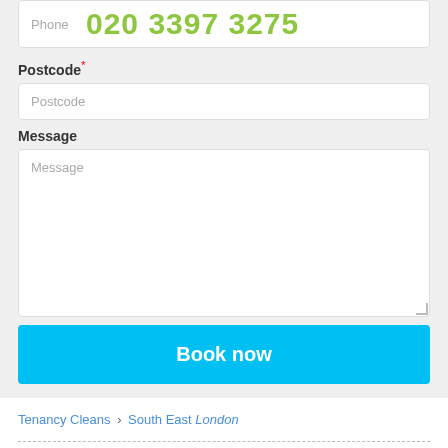Phone  020 3397 3275
Postcode*
Postcode
Message
Message
Book now
Tenancy Cleans › South East London
WE ARE THE CLEANING COMPANY IN SOUTH